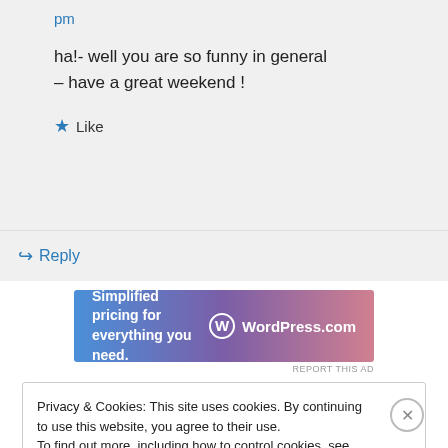pm
ha!- well you are so funny in general – have a great weekend !
Like
Reply
[Figure (other): WordPress.com advertisement banner: 'Simplified pricing for everything you need.' with WordPress.com logo]
REPORT THIS AD
Privacy & Cookies: This site uses cookies. By continuing to use this website, you agree to their use.
To find out more, including how to control cookies, see here: Cookie Policy